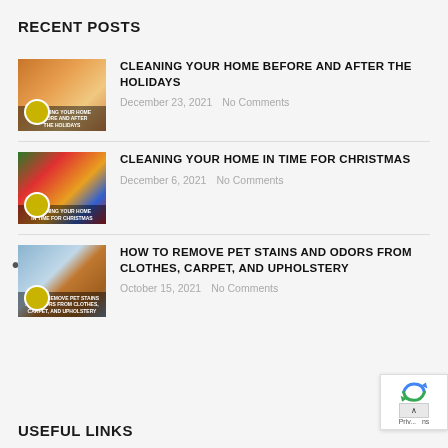RECENT POSTS
CLEANING YOUR HOME BEFORE AND AFTER THE HOLIDAYS | December 23, 2021 | No Comments
CLEANING YOUR HOME IN TIME FOR CHRISTMAS | December 6, 2021 | No Comments
HOW TO REMOVE PET STAINS AND ODORS FROM CLOTHES, CARPET, AND UPHOLSTERY | October 15, 2021 | No Comments
USEFUL LINKS